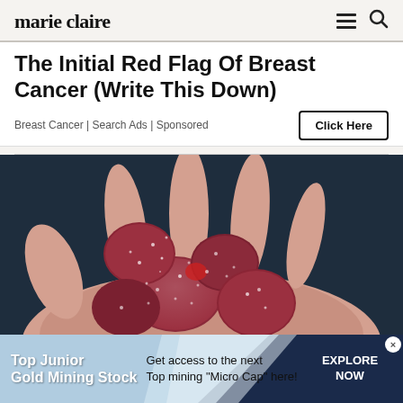marie claire
The Initial Red Flag Of Breast Cancer (Write This Down)
Breast Cancer | Search Ads | Sponsored
[Figure (photo): A hand holding several red sugared gummy candies against a dark background.]
[Figure (infographic): Bottom banner ad: 'Top Junior Gold Mining Stock' — 'Get access to the next Top mining "Micro Cap" here!' — 'EXPLORE NOW' button on dark navy background with light blue wave design.]